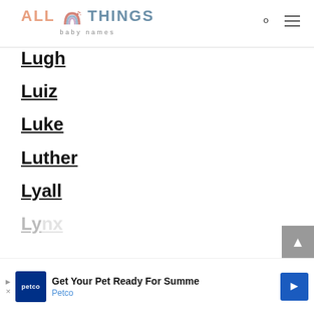All Things Baby Names
Lugh
Luiz
Luke
Luther
Lyall
Lynx
[Figure (other): Advertisement banner: Get Your Pet Ready For Summer - Petco]